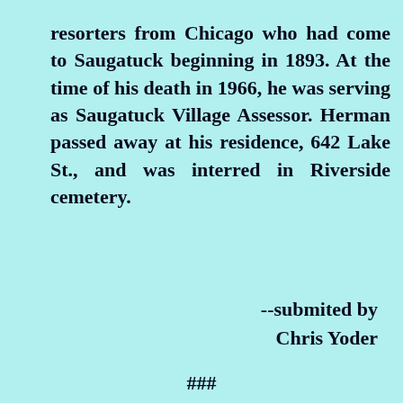resorters from Chicago who had come to Saugatuck beginning in 1893. At the time of his death in 1966, he was serving as Saugatuck Village Assessor. Herman passed away at his residence, 642 Lake St., and was interred in Riverside cemetery.
--submited by Chris Yoder
###